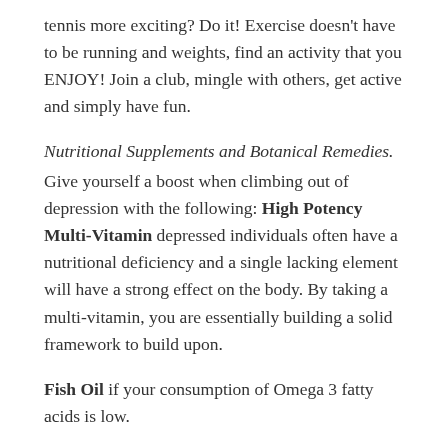tennis more exciting? Do it! Exercise doesn't have to be running and weights, find an activity that you ENJOY! Join a club, mingle with others, get active and simply have fun.
Nutritional Supplements and Botanical Remedies.
Give yourself a boost when climbing out of depression with the following: High Potency Multi-Vitamin depressed individuals often have a nutritional deficiency and a single lacking element will have a strong effect on the body. By taking a multi-vitamin, you are essentially building a solid framework to build upon.
Fish Oil if your consumption of Omega 3 fatty acids is low.
Saint John's Wort has long been a recognized